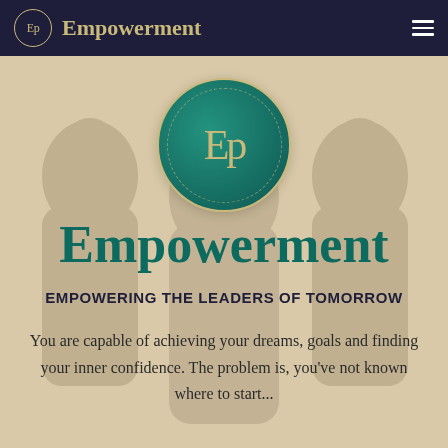Ep  Empowerment
[Figure (logo): Large teal circular logo with 'Ep' monogram in gold on dark teal background with dashed inner ring border]
Empowerment
EMPOWERING THE LEADERS OF TOMORROW
You are capable of achieving your dreams, goals and finding your inner confidence. The problem is, you've not known where to start...